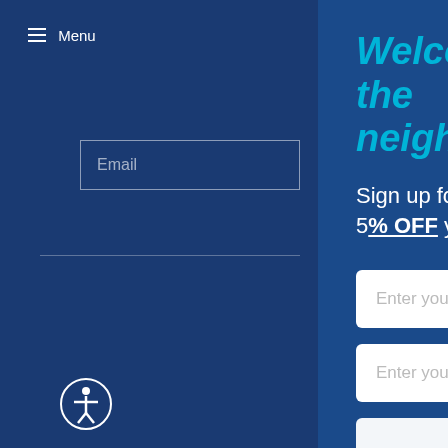≡ Menu
Email
Welcome to the neighborhood.
Sign up for exclusive offers and content and recieve 5% OFF your next order.
Enter your name
Enter your phone number